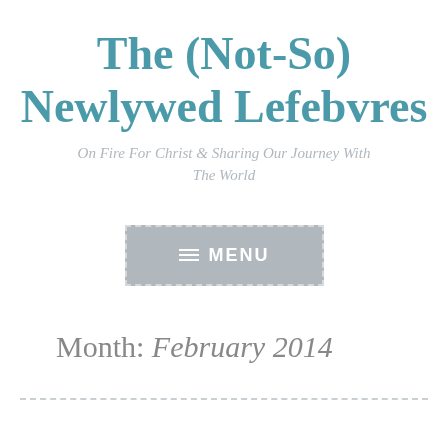The (Not-So) Newlywed Lefebvres
On Fire For Christ & Sharing Our Journey With The World
[Figure (other): Gray MENU button with dashed border and hamburger icon]
Month: February 2014